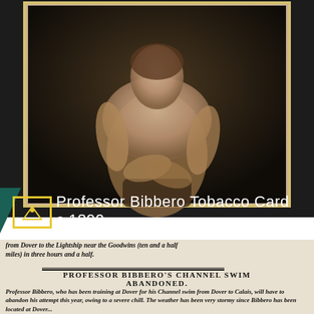[Figure (photo): Sepia-toned vintage photograph of Professor Bibbero, a bare-chested man posed in a formal portrait style, circa 1890 tobacco card]
Professor Bibbero Tobacco Card c.1890
from Dover to the Lightship near the Goodwins (ten and a half miles) in three hours and a half.
PROFESSOR BIBBERO'S CHANNEL SWIM ABANDONED.
Professor Bibbero, who has been training at Dover for his Channel swim from Dover to Calais, will have to abandon his attempt this year, owing to a severe chill. The weather has been very stormy since Bibbero has been located at Dover, and he was hopeful of doing a big performance, as one day last week he swam from Dover to the Lightship near the Goodwins (ten and a half miles) in three hours and a half.
PROFESSOR BIBBERO'S CHANNEL SWIM ABANDONED.